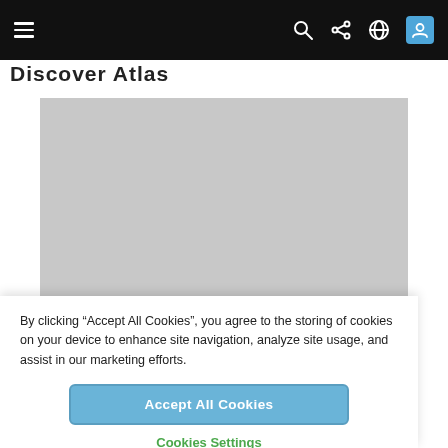Navigation bar with hamburger menu, search, share, globe, and user icons
Discover Atlas
[Figure (photo): Gray placeholder image rectangle]
By clicking “Accept All Cookies”, you agree to the storing of cookies on your device to enhance site navigation, analyze site usage, and assist in our marketing efforts.
Accept All Cookies
Cookies Settings